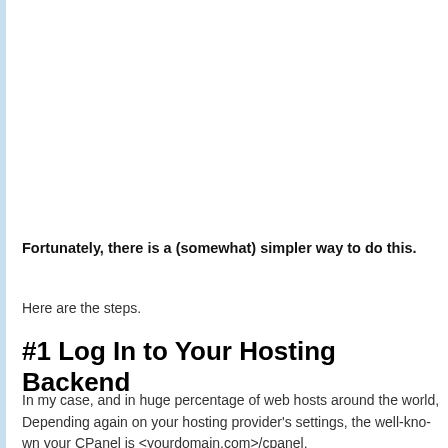Fortunately, there is a (somewhat) simpler way to do this.
Here are the steps.
#1 Log In to Your Hosting Backend
In my case, and in huge percentage of web hosts around the world, Depending again on your hosting provider's settings, the well-known your CPanel is <yourdomain.com>/cpanel.